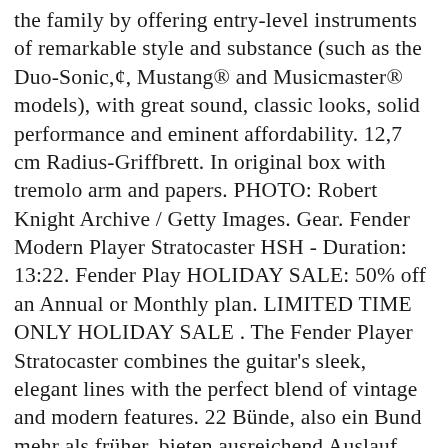the family by offering entry-level instruments of remarkable style and substance (such as the Duo-Sonic,¢, Mustang® and Musicmaster® models), with great sound, classic looks, solid performance and eminent affordability. 12,7 cm Radius-Griffbrett. In original box with tremolo arm and papers. PHOTO: Robert Knight Archive / Getty Images. Gear. Fender Modern Player Stratocaster HSH - Duration: 13:22. Fender Play HOLIDAY SALE: 50% off an Annual or Monthly plan. LIMITED TIME ONLY HOLIDAY SALE . The Fender Player Stratocaster combines the guitar's sleek, elegant lines with the perfect blend of vintage and modern features. 22 Bünde, also ein Bund mehr als früher, bieten ausreichend Auslauf auch für nervöse Finger. It sounds just like a Stratocaster is supposed to sound on the neck and middle pick up positions, and has the fat Strat sound you expect from the bridge pickup. Herzlich Willkommen zu unserem Test. Wir haben verschiedene Marken ausführlich verglichen und wir zeigen unseren Lesern hier alle Resultate des Vergleichs. Fender really goes to town whenever it's time to revise its